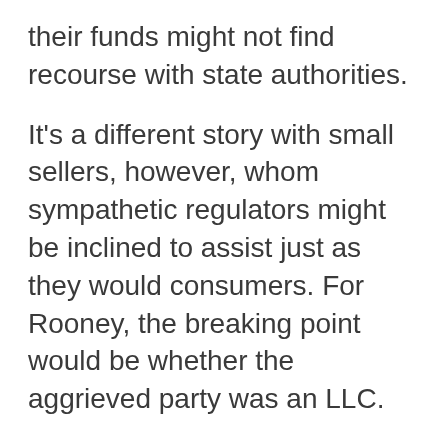their funds might not find recourse with state authorities.
It's a different story with small sellers, however, whom sympathetic regulators might be inclined to assist just as they would consumers. For Rooney, the breaking point would be whether the aggrieved party was an LLC.
"Any customer or the recipient can file a complaint with its state. What we would do with that complaint is send it PayPal and say, 'Can you give us the specifics on this?'" he said. "If they didn't we would question why did they put the hold on this."
The extent of state authority over PayPal varies by statute, and is further complicated by matters